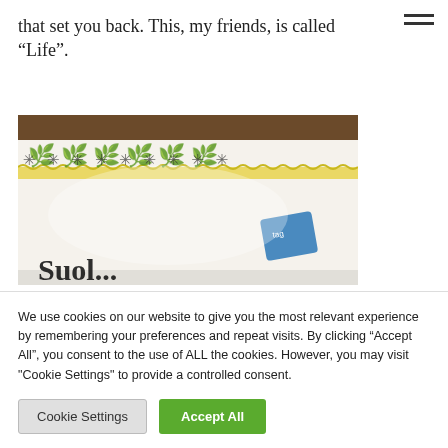that set you back. This, my friends, is called “Life”.
[Figure (photo): Close-up photo of a white decorative pillow or cushion with embroidered dark cross-stitch pattern and yellow trim along the top edge. A blue tag is visible in the lower right. Partial text visible at bottom reads 'Suol...'.]
We use cookies on our website to give you the most relevant experience by remembering your preferences and repeat visits. By clicking “Accept All”, you consent to the use of ALL the cookies. However, you may visit "Cookie Settings" to provide a controlled consent.
Cookie Settings | Accept All